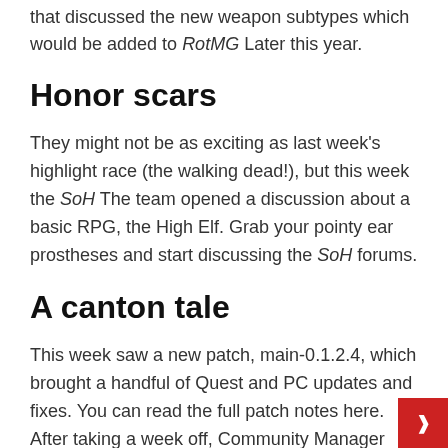that discussed the new weapon subtypes which would be added to RotMG Later this year.
Honor scars
They might not be as exciting as last week's highlight race (the walking dead!), but this week the SoH The team opened a discussion about a basic RPG, the High Elf. Grab your pointy ear prostheses and start discussing the SoH forums.
A canton tale
This week saw a new patch, main-0.1.2.4, which brought a handful of Quest and PC updates and fixes. You can read the full patch notes here. After taking a week off, Community Manager